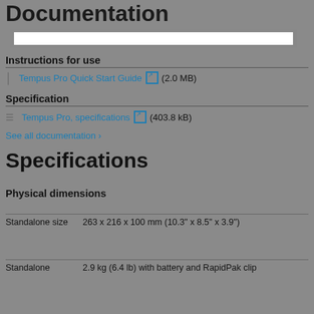Documentation
[Figure (screenshot): White search bar on grey background]
Instructions for use
Tempus Pro Quick Start Guide (2.0 MB)
Specification
Tempus Pro, specifications (403.8 kB)
See all documentation ›
Specifications
Physical dimensions
Standalone size	263 x 216 x 100 mm (10.3" x 8.5" x 3.9")
Standalone	2.9 kg (6.4 lb) with battery and RapidPak clip